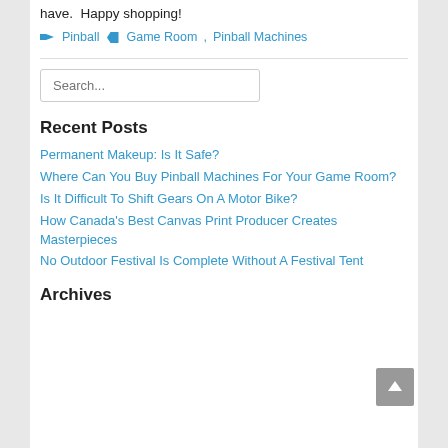have.  Happy shopping!
Pinball  Game Room, Pinball Machines
Search...
Recent Posts
Permanent Makeup: Is It Safe?
Where Can You Buy Pinball Machines For Your Game Room?
Is It Difficult To Shift Gears On A Motor Bike?
How Canada’s Best Canvas Print Producer Creates Masterpieces
No Outdoor Festival Is Complete Without A Festival Tent
Archives